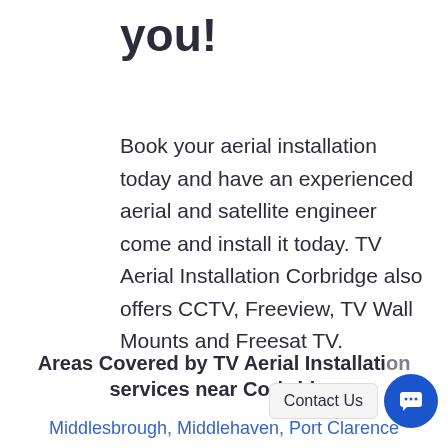you!
Book your aerial installation today and have an experienced aerial and satellite engineer come and install it today. TV Aerial Installation Corbridge also offers CCTV, Freeview, TV Wall Mounts and Freesat TV.
Areas Covered by TV Aerial Installation services near Corbridge
Middlesbrough, Middlehaven, Port Clarence